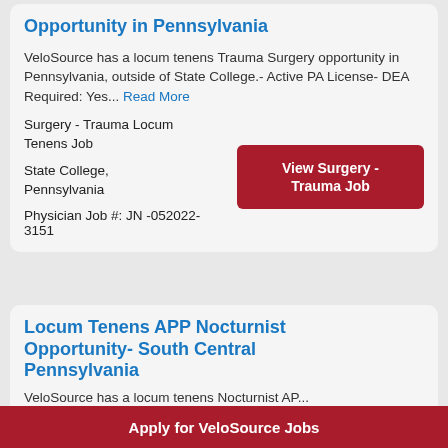Opportunity in Pennsylvania
VeloSource has a locum tenens Trauma Surgery opportunity in Pennsylvania, outside of State College.- Active PA License- DEA Required: Yes... Read More
Surgery - Trauma Locum Tenens Job
State College, Pennsylvania
Physician Job #: JN -052022-3151
View Surgery - Trauma Job
Locum Tenens APP Nocturnist Opportunity- South Central Pennsylvania
VeloSource has a locum tenens Nocturnist AP...
Apply for VeloSource Jobs